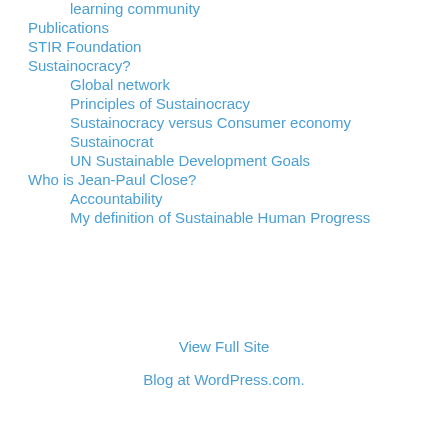learning community
Publications
STIR Foundation
Sustainocracy?
Global network
Principles of Sustainocracy
Sustainocracy versus Consumer economy
Sustainocrat
UN Sustainable Development Goals
Who is Jean-Paul Close?
Accountability
My definition of Sustainable Human Progress
View Full Site
Blog at WordPress.com.